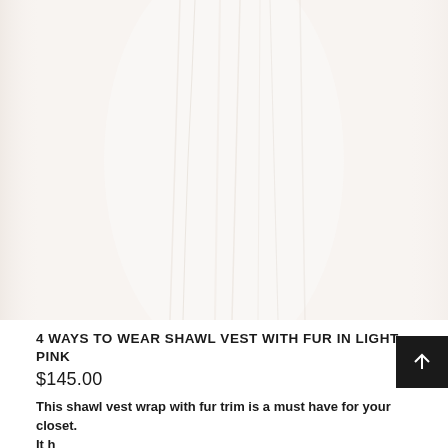[Figure (photo): Light pink shawl vest with fur trim on a light/white background, showing fabric texture and drape details]
4 WAYS TO WEAR SHAWL VEST WITH FUR IN LIGHT PINK
$145.00
This shawl vest wrap with fur trim is a must have for your closet. It h...